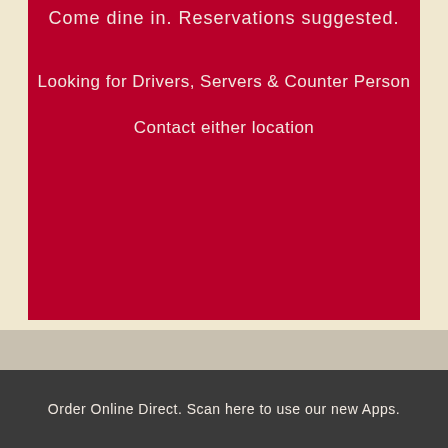Come dine in. Reservations suggested.
Looking for Drivers, Servers & Counter Person
Contact either location
Order Online Direct. Scan here to use our new Apps.